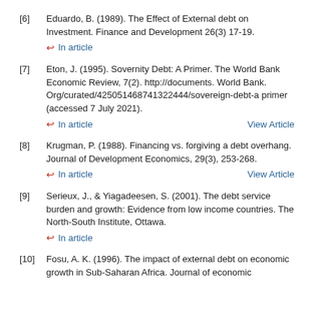[6] Eduardo, B. (1989). The Effect of External debt on Investment. Finance and Development 26(3) 17-19. ↩ In article
[7] Eton, J. (1995). Sovernity Debt: A Primer. The World Bank Economic Review, 7(2). http://documents. World Bank. Org/curated/425051468741322444/sovereign-debt-a primer (accessed 7 July 2021). ↩ In article  View Article
[8] Krugman, P. (1988). Financing vs. forgiving a debt overhang. Journal of Development Economics, 29(3), 253-268. ↩ In article  View Article
[9] Serieux, J., & Yiagadeesen, S. (2001). The debt service burden and growth: Evidence from low income countries. The North-South Institute, Ottawa. ↩ In article
[10] Fosu, A. K. (1996). The impact of external debt on economic growth in Sub-Saharan Africa. Journal of economic